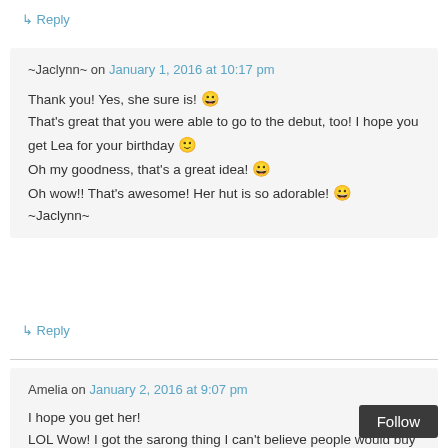↳ Reply
~Jaclynn~ on January 1, 2016 at 10:17 pm
Thank you! Yes, she sure is! 😀 That's great that you were able to go to the debut, too! I hope you get Lea for your birthday 🙂 Oh my goodness, that's a great idea! 😀 Oh wow!! That's awesome! Her hut is so adorable! 😀 ~Jaclynn~
↳ Reply
Amelia on January 2, 2016 at 9:07 pm
I hope you get her! LOL Wow! I got the sarong thing I can't believe people would buy it! That's already a fraction of the hut! I hope you can get it!
Follow